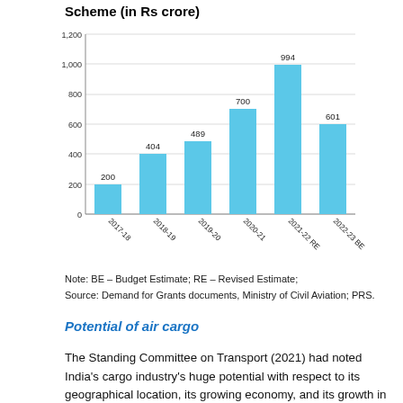Scheme (in Rs crore)
[Figure (bar-chart): Scheme (in Rs crore)]
Note: BE – Budget Estimate; RE – Revised Estimate;
Source: Demand for Grants documents, Ministry of Civil Aviation; PRS.
Potential of air cargo
The Standing Committee on Transport (2021) had noted India's cargo industry's huge potential with respect to its geographical location, its growing economy, and its growth in domestic and international trade in the last decade.  In 2019-20, all Indian airports together handled 3.33 million